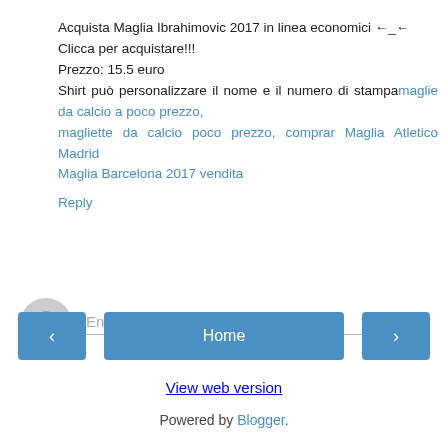Acquista Maglia Ibrahimovic 2017 in linea economici ←_←
Clicca per acquistare!!!
Prezzo: 15.5 euro
Shirt può personalizzare il nome e il numero di stampamaglie da calcio a poco prezzo,
magliette da calcio poco prezzo, comprar Maglia Atletico Madrid
Maglia Barcelona 2017 vendita
Reply
[Figure (other): User avatar placeholder icon - grey circle with person silhouette]
Enter Comment
< (previous navigation button)
Home
> (next navigation button)
View web version
Powered by Blogger.